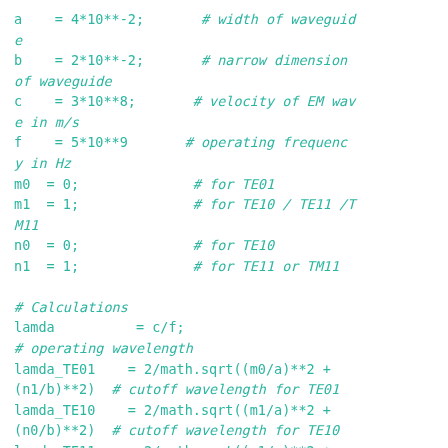a    = 4*10**-2;       # width of waveguide
b    = 2*10**-2;       # narrow dimension of waveguide
c    = 3*10**8;       # velocity of EM wave in m/s
f    = 5*10**9       # operating frequency in Hz
m0  = 0;              # for TE01
m1  = 1;              # for TE10 / TE11 /TM11
n0  = 0;              # for TE10
n1  = 1;              # for TE11 or TM11

# Calculations
lamda          = c/f;
# operating wavelength
lamda_TE01    = 2/math.sqrt((m0/a)**2 + (n1/b)**2)  # cutoff wavelength for TE01
lamda_TE10    = 2/math.sqrt((m1/a)**2 + (n0/b)**2)  # cutoff wavelength for TE10
lamda_TE11    = 2/math.sqrt((m1/a)**2 + (n1/b)**2)         # cutoff wavelength for TE11 or TM11

# Result
if lamda_TE01 >lamda: